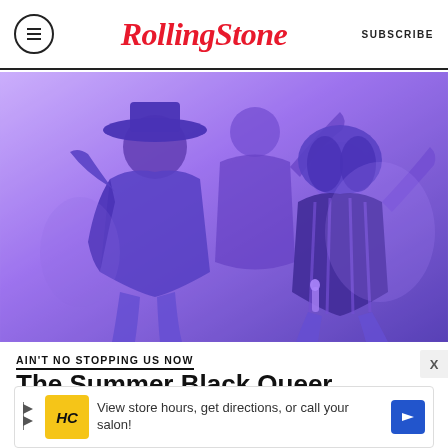RollingStone | SUBSCRIBE
[Figure (photo): Two female performers on stage with a blue/purple tinted photo overlay. Left performer in black outfit with wide-brimmed hat, right performer in black leather corset. Another performer visible in background.]
AIN'T NO STOPPING US NOW
The Summer Black Queer Music Took Over
[Figure (infographic): Advertisement banner: HC logo with yellow background, text 'View store hours, get directions, or call your salon!' with blue arrow navigation icon]